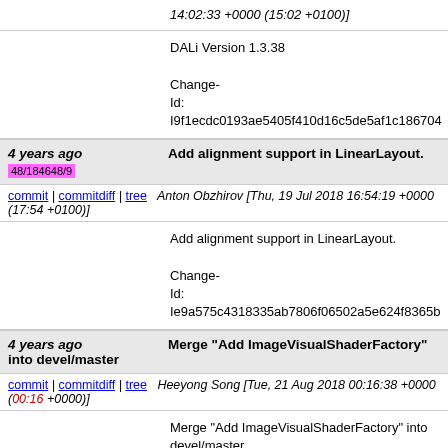14:02:33 +0000 (15:02 +0100)]
DALi Version 1.3.38

Change-Id: I9f1ecdc0193ae5405f410d16c5de5af1c186704
4 years ago   Add alignment support in LinearLayout.
48/184648/9
commit | commitdiff | tree   Anton Obzhirov [Thu, 19 Jul 2018 16:54:19 +0000 (17:54 +0100)]
Add alignment support in LinearLayout.

Change-Id: Ie9a575c4318335ab7806f06502a5e624f8365b
4 years ago   Merge "Add ImageVisualShaderFactory" into devel/master
commit | commitdiff | tree   Heeyong Song [Tue, 21 Aug 2018 00:16:38 +0000 (00:16 +0000)]
Merge "Add ImageVisualShaderFactory" into devel/master
4 years ago   DALi Version 1.3.37   48/187048/1   dali_1.3.37